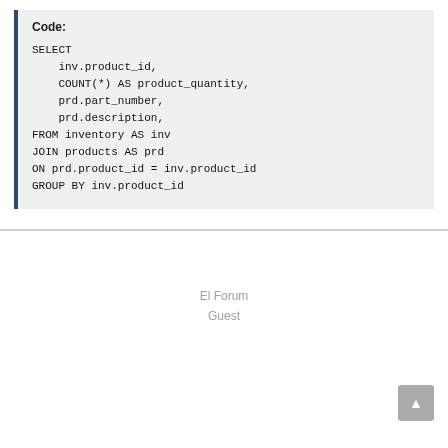Code:
SELECT
    inv.product_id,
    COUNT(*) AS product_quantity,
    prd.part_number,
    prd.description,
FROM inventory AS inv
JOIN products AS prd
ON prd.product_id = inv.product_id
GROUP BY inv.product_id
El Forum
Guest